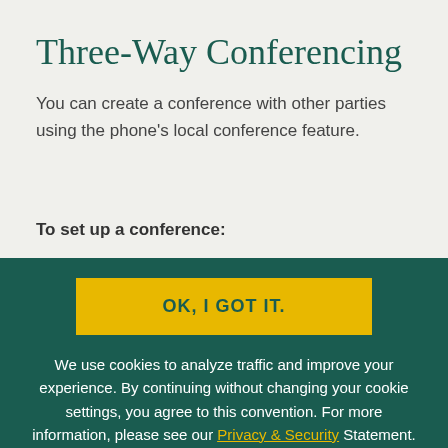Three-Way Conferencing
You can create a conference with other parties using the phone's local conference feature.
To set up a conference:
OK, I GOT IT.
We use cookies to analyze traffic and improve your experience. By continuing without changing your cookie settings, you agree to this convention. For more information, please see our Privacy & Security Statement.